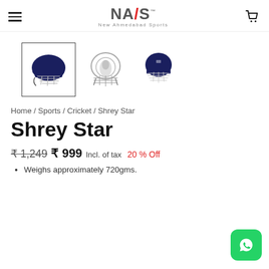NAS New Ahmedabad Sports
[Figure (photo): Three cricket helmet thumbnail images: side view (selected, dark navy blue), front view (light/interior), and angled view (navy blue). The first thumbnail has a border indicating selection.]
Home / Sports / Cricket / Shrey Star
Shrey Star
₹ 1,249  ₹ 999 Incl. of tax  20 % Off
Weighs approximately 720gms.